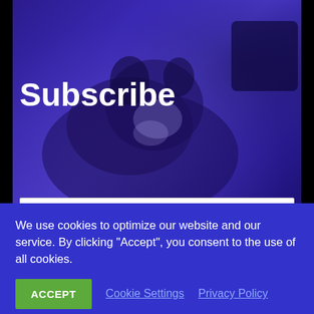[Figure (photo): Blue-purple tinted background photo of a husky dog lying on wooden floor with a dark bag visible in the upper right corner]
Subscribe
First Name
Last Name
Email
We use cookies to optimize our website and our service. By clicking “Accept”, you consent to the use of all cookies.
ACCEPT
Cookie Settings
Privacy Policy